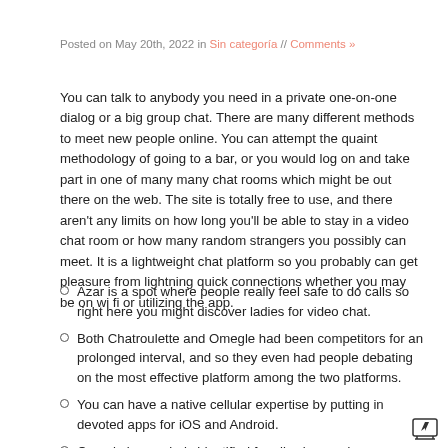Posted on May 20th, 2022 in Sin categoría // Comments »
You can talk to anybody you need in a private one-on-one dialog or a big group chat. There are many different methods to meet new people online. You can attempt the quaint methodology of going to a bar, or you would log on and take part in one of many many chat rooms which might be out there on the web. The site is totally free to use, and there aren't any limits on how long you'll be able to stay in a video chat room or how many random strangers you possibly can meet. It is a lightweight chat platform so you probably can get pleasure from lightning quick connections whether you may be on wi fi or utilizing the app.
Azar is a spot where people really feel safe to do calls so right here you might discover ladies for video chat.
Both Chatroulette and Omegle had been competitors for an prolonged interval, and so they even had people debating on the most effective platform among the two platforms.
You can have a native cellular expertise by putting in devoted apps for iOS and Android.
Omegle is popularly identified for allowing random customers to